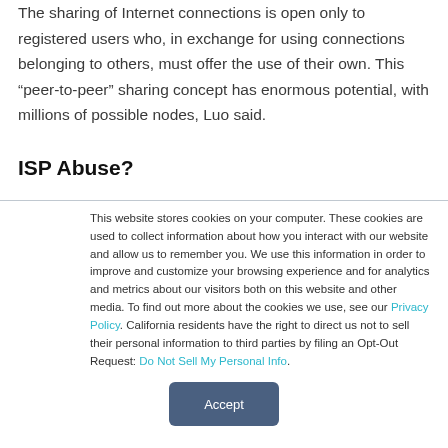The sharing of Internet connections is open only to registered users who, in exchange for using connections belonging to others, must offer the use of their own. This “peer-to-peer” sharing concept has enormous potential, with millions of possible nodes, Luo said.
ISP Abuse?
This website stores cookies on your computer. These cookies are used to collect information about how you interact with our website and allow us to remember you. We use this information in order to improve and customize your browsing experience and for analytics and metrics about our visitors both on this website and other media. To find out more about the cookies we use, see our Privacy Policy. California residents have the right to direct us not to sell their personal information to third parties by filing an Opt-Out Request: Do Not Sell My Personal Info.